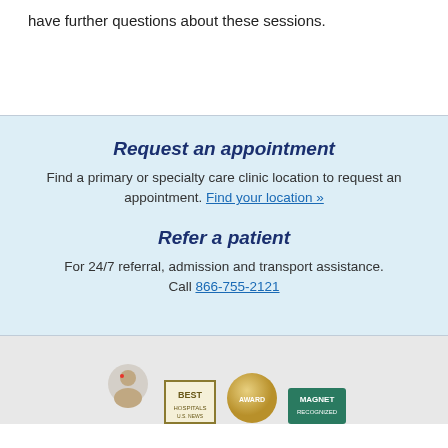have further questions about these sessions.
Request an appointment
Find a primary or specialty care clinic location to request an appointment. Find your location »
Refer a patient
For 24/7 referral, admission and transport assistance. Call 866-755-2121
[Figure (other): Footer badges/logos including a person illustration, BEST badge, gold seal, and MAGNET badge]